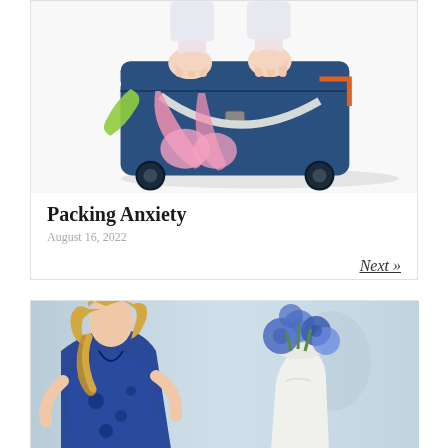[Figure (photo): Person standing on overpacked navy blue rolling suitcase with clothes spilling out, including green fabric and pink bra, on white background]
Packing Anxiety
August 16, 2022
Next »
[Figure (photo): Woman with blonde wavy hair wearing blue patterned dress, standing next to white vase with blue hydrangeas, light blue background]